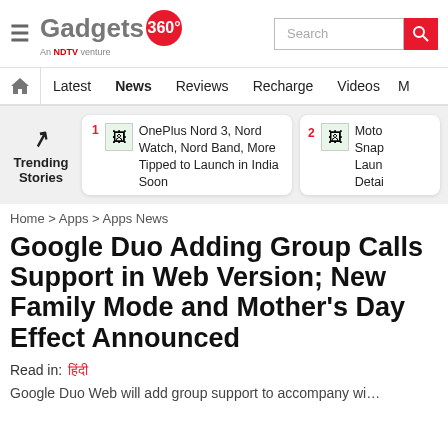Gadgets 360 — An NDTV venture | Search bar
Latest | News | Reviews | Recharge | Videos | M…
[Figure (infographic): Trending Stories section with two trending article cards: 1. OnePlus Nord 3, Nord Watch, Nord Band, More Tipped to Launch in India Soon; 2. Moto Snap Launch Detai…]
Home > Apps > Apps News
Google Duo Adding Group Calls Support in Web Version; New Family Mode and Mother's Day Effect Announced
Read in: हिंदी
Google Duo Web will add group support to accompany wi…